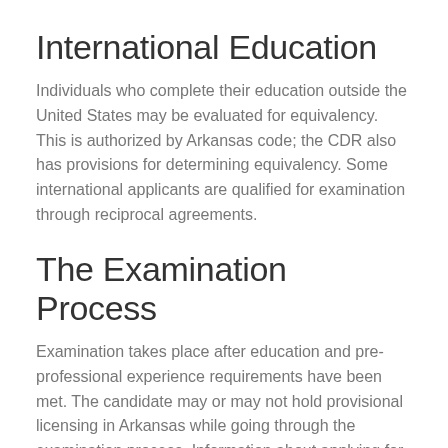International Education
Individuals who complete their education outside the United States may be evaluated for equivalency. This is authorized by Arkansas code; the CDR also has provisions for determining equivalency. Some international applicants are qualified for examination through reciprocal agreements.
The Examination Process
Examination takes place after education and pre-professional experience requirements have been met. The candidate may or may not hold provisional licensing in Arkansas while going through the examination process. Information about applying for and taking the exam can be found on the CDR website (http://www.cdrnet.org). The candidate